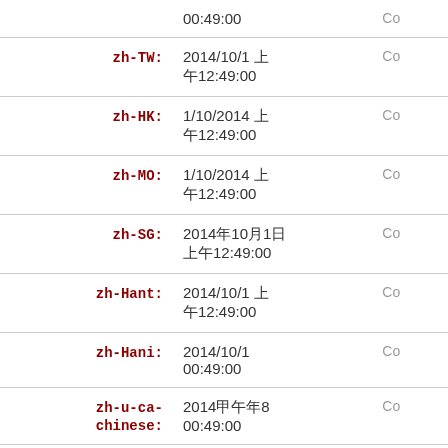| Label | Value | Copy |
| --- | --- | --- |
|  | 00:49:00 | Co |
| zh-TW: | 2014/10/1 上
午12:49:00 | Co |
| zh-HK: | 1/10/2014 上
午12:49:00 | Co |
| zh-MO: | 1/10/2014 上
午12:49:00 | Co |
| zh-SG: | 2014年10月1日
上午12:49:00 | Co |
| zh-Hant: | 2014/10/1 上
午12:49:00 | Co |
| zh-Hani: | 2014/10/1
00:49:00 | Co |
| zh-u-ca-chinese: | 2014甲午年8
00:49:00 | Co |
| zh-TW-u- | 民國103/10/1 |  |